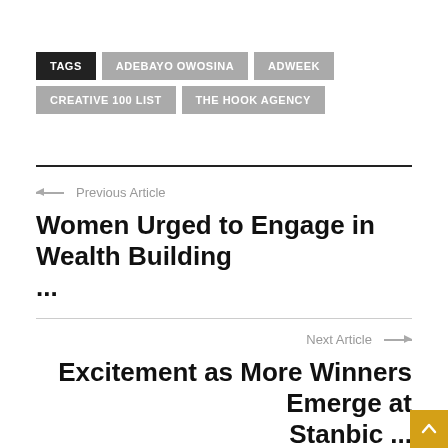TAGS | ADEBAYO OWOSINA | ADWEEK | CREATIVE 100 LIST | THE HOOK AGENCY
← Previous Article
Women Urged to Engage in Wealth Building ...
Next Article →
Excitement as More Winners Emerge at Stanbic ...